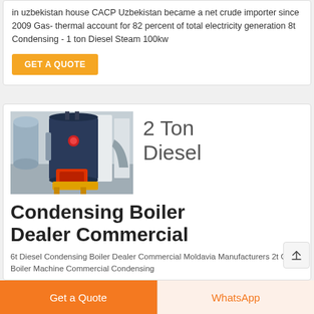in uzbekistan house CACP Uzbekistan became a net crude importer since 2009 Gas- thermal account for 82 percent of total electricity generation 8t Condensing - 1 ton Diesel Steam 100kw
GET A QUOTE
[Figure (photo): Industrial diesel condensing boiler unit in a warehouse setting, dark blue cylindrical body with red burner component and yellow base frame]
2 Ton Diesel Condensing Boiler Dealer Commercial
6t Diesel Condensing Boiler Dealer Commercial Moldavia Manufacturers 2t Gas Boiler Machine Commercial Condensing
Get a Quote
WhatsApp